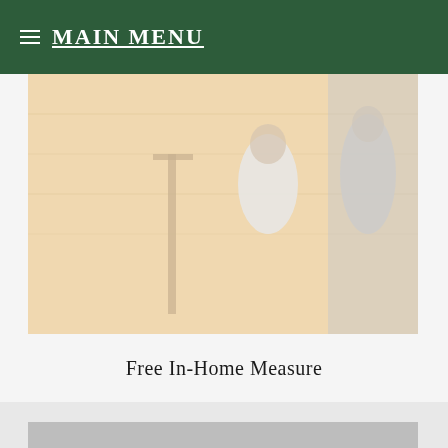≡ MAIN MENU
[Figure (photo): Partial photo showing people, one in a wheelchair and another standing, in an interior home setting with wooden furniture]
Free In-Home Measure
[Figure (photo): Gray placeholder image for second card content]